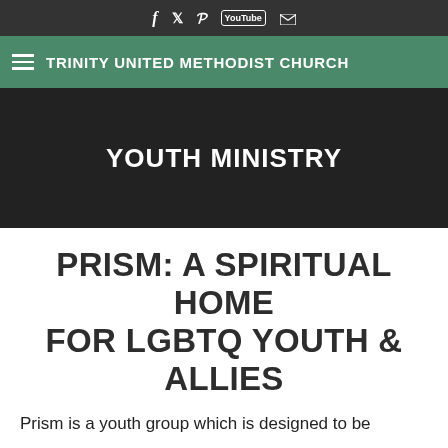f  t  p  YouTube  mail
TRINITY UNITED METHODIST CHURCH
YOUTH MINISTRY
PRISM: A SPIRITUAL HOME FOR LGBTQ YOUTH & ALLIES
Prism is a youth group which is designed to be